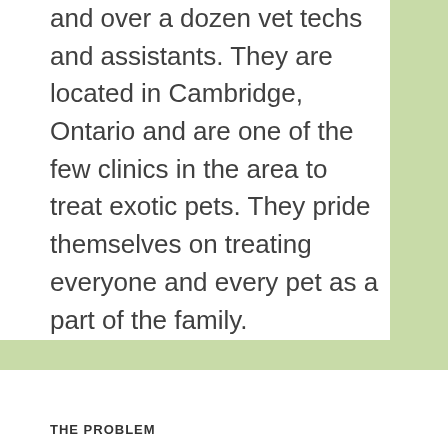and over a dozen vet techs and assistants. They are located in Cambridge, Ontario and are one of the few clinics in the area to treat exotic pets. They pride themselves on treating everyone and every pet as a part of the family.
THE PROBLEM